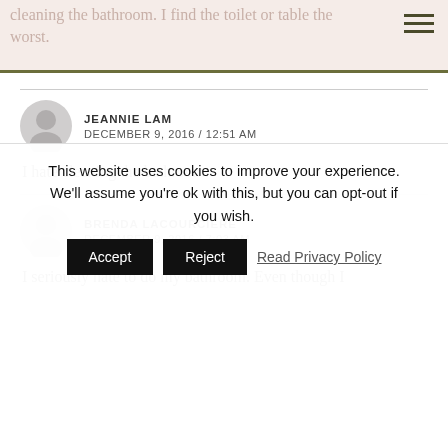cleaning the bathroom. I find the toilet or the toilet the worst.
JEANNIE LAM
DECEMBER 9, 2016 / 12:51 AM
I hate cleaning the bathroom.
BRENDA LACOURCIERE
DECEMBER 9, 2016 / 7:03 AM
I seriously hate to do my bathroom. Even though I
This website uses cookies to improve your experience. We'll assume you're ok with this, but you can opt-out if you wish. Accept Reject Read Privacy Policy